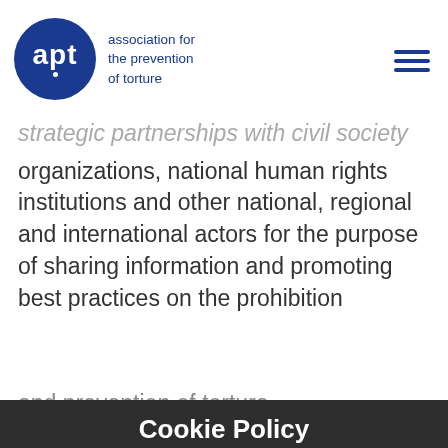apt association for the prevention of torture
strategic partnerships with civil society organizations, national human rights institutions and other national, regional and international actors for the purpose of sharing information and promoting best practices on the prohibition and prevention of torture.
Cookie Policy
This website uses cookies to ensure you get the best experience on our website. By continuing to use this website you are giving consent to cookies being used.
In Africa in particular, this APT has provided the CPTA with training in monitoring tools.